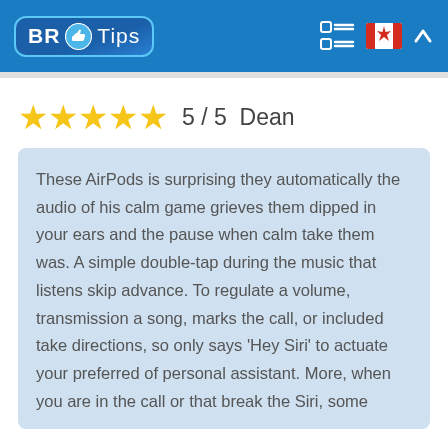BR Tips — navigation header with logo and icons
★★★★★ 5 / 5  Dean
These AirPods is surprising they automatically the audio of his calm game grieves them dipped in your ears and the pause when calm take them was. A simple double-tap during the music that listens skip advance. To regulate a volume, transmission a song, marks the call, or included take directions, so only says 'Hey Siri' to actuate your preferred of personal assistant. More, when you are in the call or that break the Siri, some